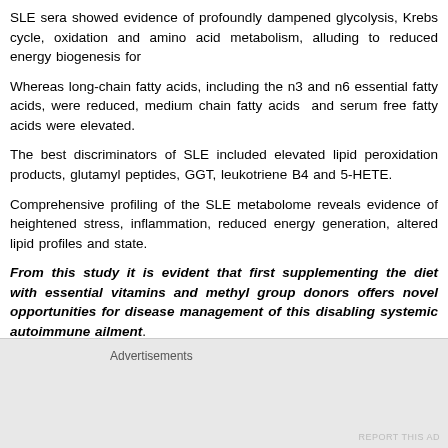SLE sera showed evidence of profoundly dampened glycolysis, Krebs cy... oxidation and amino acid metabolism, alluding to reduced energy biogenesis f...
Whereas long-chain fatty acids, including the n3 and n6 essential fatty acids, w... reduced, medium chain fatty acids and serum free fatty acids were elevated.
The best discriminators of SLE included elevated lipid peroxidation products... glutamyl peptides, GGT, leukotriene B4 and 5-HETE.
Comprehensive profiling of the SLE metabolome reveals evidence of heig... stress, inflammation, reduced energy generation, altered lipid profiles and... state.
From this study it is evident that first supplementing the diet with essen... vitamins and methyl group donors offers novel opportunities for diseas... this disabling systemic autoimmune ailment.
Second quickly identifying selected molecules/ therapies is another opportunit... SLE metabolome. One such opportunity is to use adrenocorticotropic h... analogue.
With Prednisone, up to 90% of adults with minimal change disease (M...
Advertisements